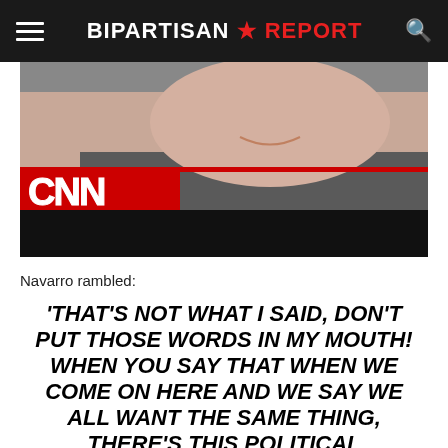BIPARTISAN REPORT
[Figure (photo): Screenshot of a CNN broadcast showing a man speaking, with CNN logo visible in the lower left. Below the image is a black bar.]
Navarro rambled:
'THAT'S NOT WHAT I SAID, DON'T PUT THOSE WORDS IN MY MOUTH! WHEN YOU SAY THAT WHEN WE COME ON HERE AND WE SAY WE ALL WANT THE SAME THING, THERE'S THIS POLITICAL OVERTONE, THIS BATTLE BETWEEN